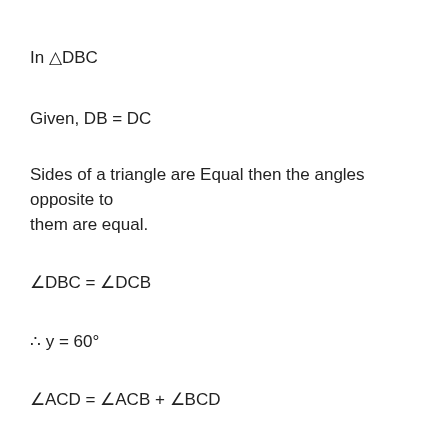In △DBC
Given, DB = DC
Sides of a triangle are Equal then the angles opposite to them are equal.
∠DBC = ∠DCB
∴ y = 60°
∠ACD = ∠ACB + ∠BCD